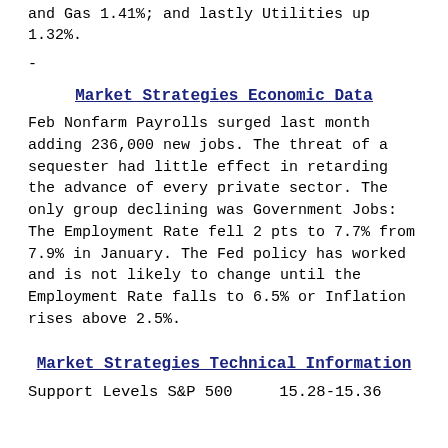and Gas 1.41%; and lastly Utilities up 1.32%.
-
Market Strategies Economic Data
Feb Nonfarm Payrolls surged last month adding 236,000 new jobs. The threat of a sequester had little effect in retarding the advance of every private sector. The only group declining was Government Jobs: The Employment Rate fell 2 pts to 7.7% from 7.9% in January. The Fed policy has worked and is not likely to change until the Employment Rate falls to 6.5% or Inflation rises above 2.5%.
Market Strategies Technical Information
Support Levels S&P 500    15.28-15.36